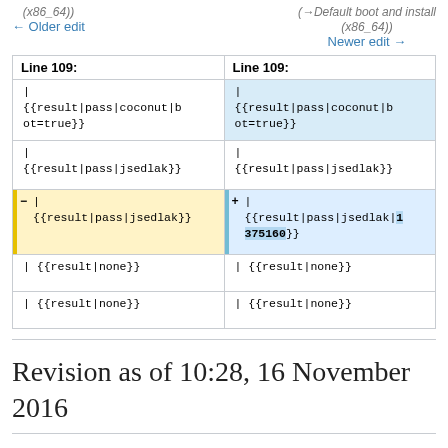(x86_64)) ← Older edit | (→Default boot and install (x86_64)) Newer edit →
| Line 109: | Line 109: |
| --- | --- |
| |
{{result|pass|coconut|bot=true}} | |
{{result|pass|coconut|bot=true}} |
| |
{{result|pass|jsedlak}} | |
{{result|pass|jsedlak}} |
| - |
{{result|pass|jsedlak}} | + |
{{result|pass|jsedlak|1375160}} |
| | {{result|none}} | | {{result|none}} |
| | {{result|none}} | | {{result|none}} |
Revision as of 10:28, 16 November 2016